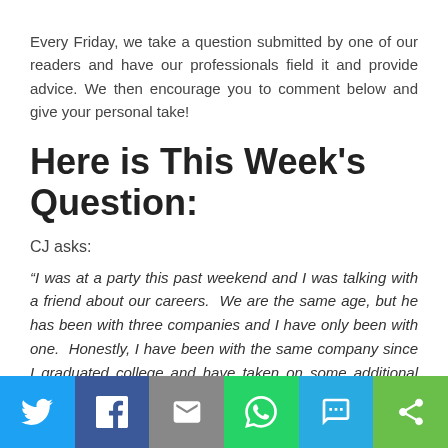Every Friday, we take a question submitted by one of our readers and have our professionals field it and provide advice.  We then encourage you to comment below and give your personal take!
Here is This Week's Question:
CJ asks:
“I was at a party this past weekend and I was talking with a friend about our careers.  We are the same age, but he has been with three companies and I have only been with one.  Honestly, I have been with the same company since I graduated college and have taken on some additional tasks, but have been generally doing the same work.  My friend said